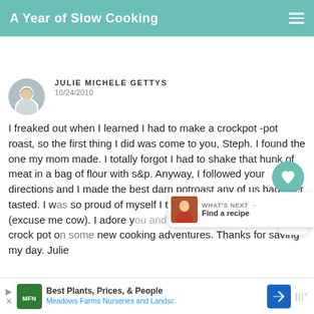A Year of Slow Cooking
[Figure (photo): Circular avatar photo of Julie Michele Gettys]
JULIE MICHELE GETTYS
10/24/2010
I freaked out when I learned I had to make a crockpot -pot roast, so the first thing I did was come to you, Steph. I found the one my mom made. I totally forgot I had to shake that hunk of meat in a bag of flour with s&p. Anyway, I followed your directions and I made the best darn potroast any of us had ever tasted. I was so proud of myself I thought I was in hog heaven (excuse me cow). I adore you and I am now going to try my crock pot on some new cooking adventures. Thanks for saving my day. Julie
[Figure (infographic): Ad banner: Best Plants, Prices, & People - Meadows Farms Nurseries and Landsc.]